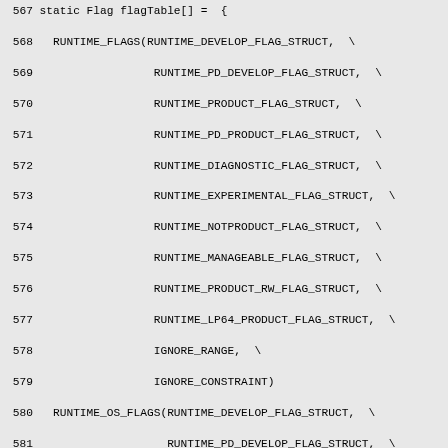567 static Flag flagTable[] = {
  568   RUNTIME_FLAGS(RUNTIME_DEVELOP_FLAG_STRUCT, \
  569                  RUNTIME_PD_DEVELOP_FLAG_STRUCT, \
  570                  RUNTIME_PRODUCT_FLAG_STRUCT, \
  571                  RUNTIME_PD_PRODUCT_FLAG_STRUCT, \
  572                  RUNTIME_DIAGNOSTIC_FLAG_STRUCT, \
  573                  RUNTIME_EXPERIMENTAL_FLAG_STRUCT, \
  574                  RUNTIME_NOTPRODUCT_FLAG_STRUCT, \
  575                  RUNTIME_MANAGEABLE_FLAG_STRUCT, \
  576                  RUNTIME_PRODUCT_RW_FLAG_STRUCT, \
  577                  RUNTIME_LP64_PRODUCT_FLAG_STRUCT, \
  578                  IGNORE_RANGE, \
  579                  IGNORE_CONSTRAINT)
  580   RUNTIME_OS_FLAGS(RUNTIME_DEVELOP_FLAG_STRUCT, \
  581                    RUNTIME_PD_DEVELOP_FLAG_STRUCT, \
  582                    RUNTIME_PRODUCT_FLAG_STRUCT, \
  583                    RUNTIME_PD_PRODUCT_FLAG_STRUCT, \
  584                    RUNTIME_DIAGNOSTIC_FLAG_STRUCT, \
  585                    RUNTIME_NOTPRODUCT_FLAG_STRUCT, \
  586                    IGNORE_RANGE, \
  587                    IGNORE_CONSTRAINT)
  588 #if INCLUDE_ALL_GCS
  589   G1_FLAGS(RUNTIME_DEVELOP_FLAG_STRUCT, \
  590            RUNTIME_PD_DEVELOP_FLAG_STRUCT, \
  591            RUNTIME_PRODUCT_FLAG_STRUCT, \
  592            RUNTIME_PD_PRODUCT_FLAG_STRUCT, \
  593            RUNTIME_DIAGNOSTIC_FLAG_STRUCT, \
  594            RUNTIME_EXPERIMENTAL_FLAG_STRUCT, \
  595            RUNTIME_NOTPRODUCT_FLAG_STRUCT, \
  596            RUNTIME_MANAGEABLE_FLAG_STRUCT, \
  597            RUNTIME_PRODUCT_RW_FLAG_STRUCT, \